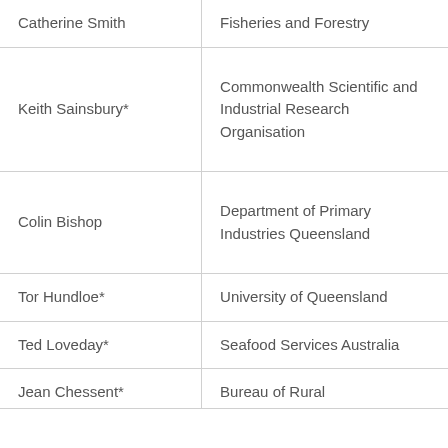| Catherine Smith | Fisheries and Forestry |
| Keith Sainsbury* | Commonwealth Scientific and Industrial Research Organisation |
| Colin Bishop | Department of Primary Industries Queensland |
| Tor Hundloe* | University of Queensland |
| Ted Loveday* | Seafood Services Australia |
| Jean Chessent* | Bureau of Rural |